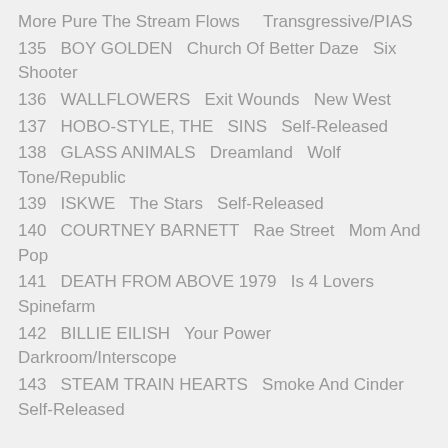More Pure The Stream Flows    Transgressive/PIAS
135   BOY GOLDEN   Church Of Better Daze   Six Shooter
136   WALLFLOWERS   Exit Wounds   New West
137   HOBO-STYLE, THE   SINS   Self-Released
138   GLASS ANIMALS   Dreamland   Wolf Tone/Republic
139   ISKWE   The Stars   Self-Released
140   COURTNEY BARNETT   Rae Street   Mom And Pop
141   DEATH FROM ABOVE 1979   Is 4 Lovers   Spinefarm
142   BILLIE EILISH   Your Power   Darkroom/Interscope
143   STEAM TRAIN HEARTS   Smoke And Cinder   Self-Released